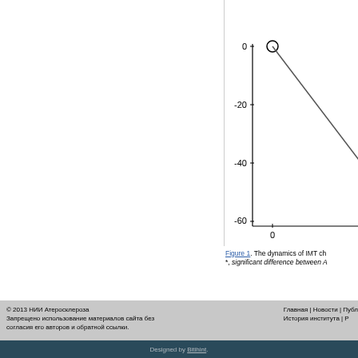[Figure (continuous-plot): Partial view of a line graph showing IMT change dynamics. Y-axis shows values from -60 to 0, with tick marks at 0, -20, -40, -60. X-axis shows 0. There is an open circle marker at the top-left of the chart area (at x=0, y=0) and a descending line going to the lower right.]
Figure 1. The dynamics of IMT ch... *, significant difference between A...
© 2013 НИИ Атеросклероза
Запрещено использование материалов сайта без согласия его авторов и обратной ссылки.
Главная | Новости | Публ... История института | ...
Designed by Bitihint.